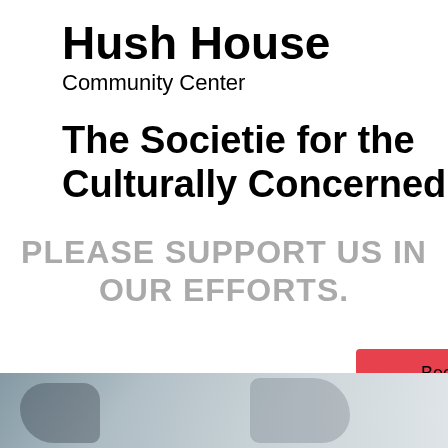Hush House
Community Center
The Societie for the Culturally Concerned
PLEASE SUPPORT US IN OUR EFFORTS.
[Figure (other): Red Patreon button with Patreon logo icon and text 'Become a patron']
[Figure (photo): Partial photo visible at bottom of page showing a figure, muted blue-grey tones]